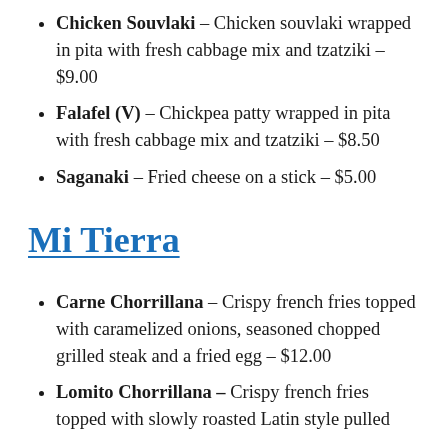Chicken Souvlaki – Chicken souvlaki wrapped in pita with fresh cabbage mix and tzatziki – $9.00
Falafel (V) – Chickpea patty wrapped in pita with fresh cabbage mix and tzatziki – $8.50
Saganaki – Fried cheese on a stick – $5.00
Mi Tierra
Carne Chorrillana – Crispy french fries topped with caramelized onions, seasoned chopped grilled steak and a fried egg – $12.00
Lomito Chorrillana – Crispy french fries topped with slowly roasted Latin style pulled